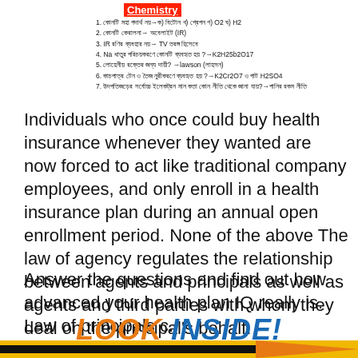Chemistry
1. কোনটি মহা পদার্থ নয়→ক) বিটোন খ) প্রেপন গ) O2 ঘ) H2
2. কোনটি কেরালনা→ অবেলাইট (IR)
3. IR রণির ব্যবহার নয়→ TV তরঙ্গ হিসেবে
4. Na ধাতুর পরিচয়করণে কোনটি ব্যবহৃত হয় ?→K2H25b2O17
5. লোহেনীয় রক্তের জন্য দায়ী? →lawson (লাহসন)
6. কাচপাত্র টেন ও তৈজ নুরীকরণে ব্যবহৃত হয় ?→K2Cr2O7 ও পাট H2SO4
7. উদপতিজড়ের সর্বোচ্চ ইলেকট্রন মান কতা কোন নীতি থেকে জানা যায়?→পানির রকম নীতি
Individuals who once could buy health insurance whenever they wanted are now forced to act like traditional company employees, and only enroll in a health insurance plan during an annual open enrollment period. None of the above The law of agency regulates the relationship between agents and principals as well as agents and third parties with whom they deal on the principal's behalf.
Answer the questions and find out how advanced your health plan IQ really is. Law of principals c.
[Figure (illustration): LOOK INSIDE! promotional banner with orange and blue bold italic text and an orange arrow on yellow/black bar at the bottom]